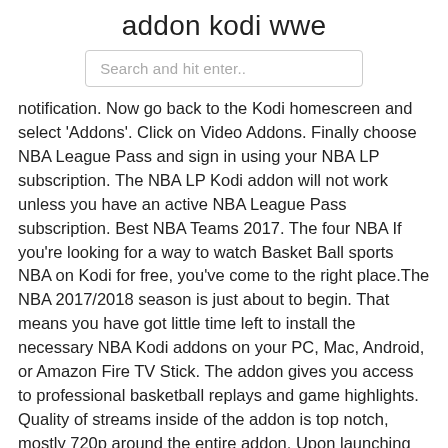addon kodi wwe
Search and hit enter..
notification. Now go back to the Kodi homescreen and select 'Addons'. Click on Video Addons. Finally choose NBA League Pass and sign in using your NBA LP subscription. The NBA LP Kodi addon will not work unless you have an active NBA League Pass subscription. Best NBA Teams 2017. The four NBA If you're looking for a way to watch Basket Ball sports NBA on Kodi for free, you've come to the right place.The NBA 2017/2018 season is just about to begin. That means you have got little time left to install the necessary NBA Kodi addons on your PC, Mac, Android, or Amazon Fire TV Stick. The addon gives you access to professional basketball replays and game highlights. Quality of streams inside of the addon is top notch, mostly 720p around the entire addon. Upon launching the NBA On Demand Kodi addon, you'll see the following layout: Latest – Stream the latest replays and highlights L'addon iStream Kodi est l'un des meilleurs addons Kodi pour la diffusion en direct. Avec un large éventail d'offres, iStream offre le meilleur du temps des films appartenant à